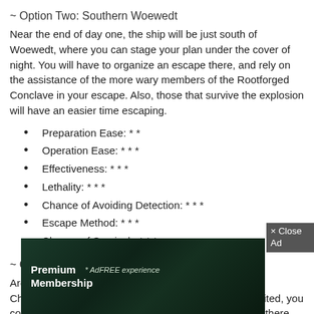~ Option Two: Southern Woewedt
Near the end of day one, the ship will be just south of Woewedt, where you can stage your plan under the cover of night. You will have to organize an escape there, and rely on the assistance of the more wary members of the Rootforged Conclave in your escape. Also, those that survive the explosion will have an easier time escaping.
Preparation Ease: * *
Operation Ease: * * *
Effectiveness: * * *
Lethality: * * *
Chance of Avoiding Detection: * * *
Escape Method: * * *
Chance of Survival:: * * *
~ Option Three: North Changing Arcanum
Around ... the Changing Arcanum. Seeing as it's supposedly uninhabited, you could easily hunt down anyone that gets out alive, and there...